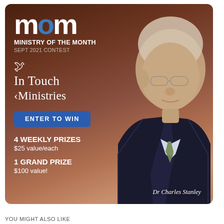[Figure (infographic): Ministry of the Month advertisement featuring In Touch Ministries September 2021 Contest. Brown background with photo of Dr Charles Stanley on the right. Left side shows MOM logo in white with blue O, ministry name, contest details, Enter to Win button, and prize information.]
YOU MIGHT ALSO LIKE